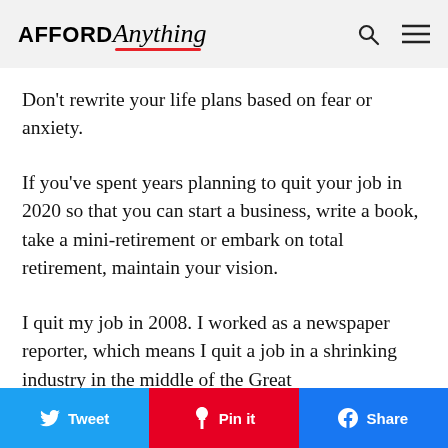AFFORD Anything — navigation header with search and menu icons
#1 Keep your plans intact.
Don't rewrite your life plans based on fear or anxiety.
If you've spent years planning to quit your job in 2020 so that you can start a business, write a book, take a mini-retirement or embark on total retirement, maintain your vision.
I quit my job in 2008. I worked as a newspaper reporter, which means I quit a job in a shrinking industry in the middle of the Great